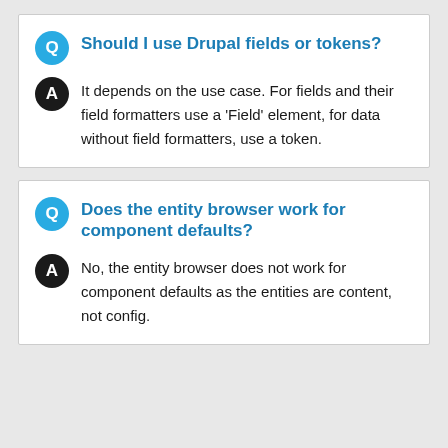Should I use Drupal fields or tokens?
It depends on the use case. For fields and their field formatters use a 'Field' element, for data without field formatters, use a token.
Does the entity browser work for component defaults?
No, the entity browser does not work for component defaults as the entities are content, not config.